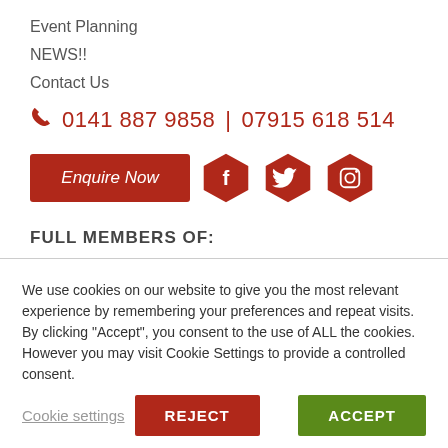Event Planning
NEWS!!
Contact Us
0141 887 9858 | 07915 618 514
[Figure (other): Enquire Now button and social media icons (Facebook, Twitter, Instagram) in red hexagons]
FULL MEMBERS OF:
We use cookies on our website to give you the most relevant experience by remembering your preferences and repeat visits. By clicking "Accept", you consent to the use of ALL the cookies. However you may visit Cookie Settings to provide a controlled consent.
Cookie settings  REJECT  ACCEPT